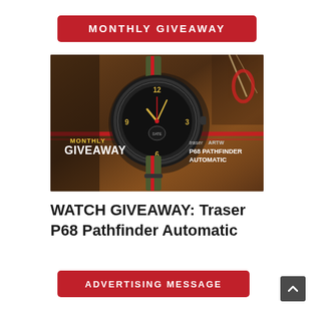MONTHLY GIVEAWAY
[Figure (photo): Traser P68 Pathfinder Automatic watch on a tactical background with red horizontal stripe accents. Overlay text reads 'MONTHLY GIVEAWAY' in red/white and 'traser ARTW P68 PATHFINDER AUTOMATIC' on the right side.]
WATCH GIVEAWAY: Traser P68 Pathfinder Automatic
ADVERTISING MESSAGE